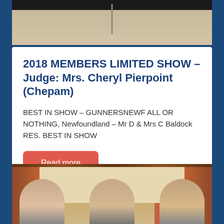[Figure (photo): Top portion of an indoor photo showing dark shoes/feet at top and a wooden floor below, with a hanging lamp visible]
2018 MEMBERS LIMITED SHOW – Judge: Mrs. Cheryl Pierpoint (Chepam)
BEST IN SHOW – GUNNERSNEWF ALL OR NOTHING, Newfoundland – Mr D & Mrs C Baldock RES. BEST IN SHOW
Read more
[Figure (photo): Bottom portion showing three people standing in a room with orange/terracotta curtains in the background]